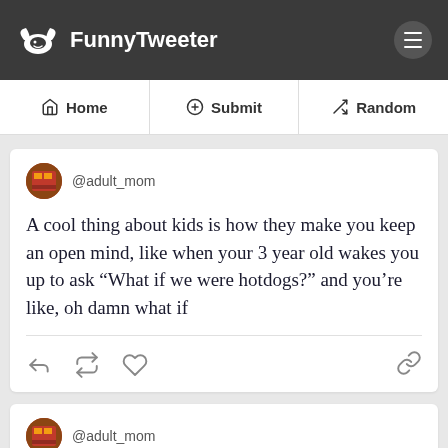FunnyTweeter
Home | Submit | Random
@adult_mom

A cool thing about kids is how they make you keep an open mind, like when your 3 year old wakes you up to ask “What if we were hotdogs?” and you’re like, oh damn what if
@adult_mom

Start yelling “DON’T FORGET!” when saying